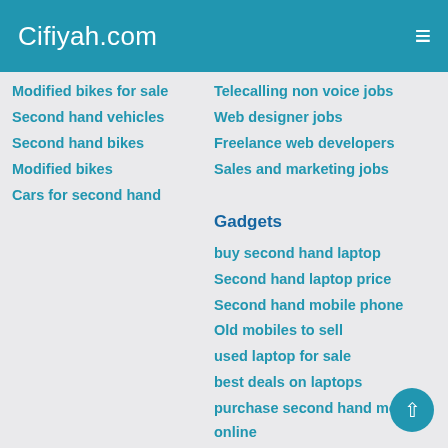Cifiyah.com
Modified bikes for sale
Second hand vehicles
Second hand bikes
Modified bikes
Cars for second hand
Telecalling non voice jobs
Web designer jobs
Freelance web developers
Sales and marketing jobs
Gadgets
buy second hand laptop
Second hand laptop price
Second hand mobile phone
Old mobiles to sell
used laptop for sale
best deals on laptops
purchase second hand mobile online
sell old mobiles
buy used laptops online
sell used laptops